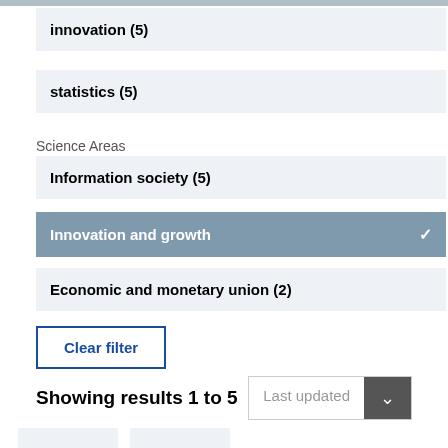innovation (5)
statistics (5)
Science Areas
Information society (5)
Innovation and growth ✓
Economic and monetary union (2)
Clear filter
Showing results 1 to 5
Last updated